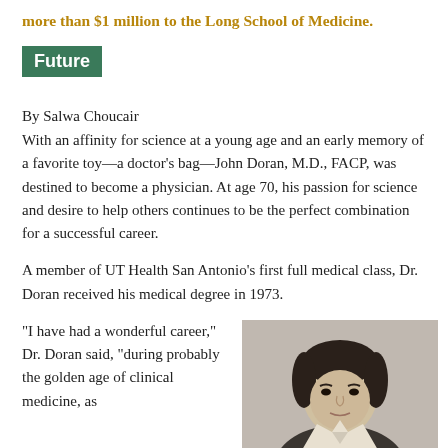more than $1 million to the Long School of Medicine.
Future
By Salwa Choucair
With an affinity for science at a young age and an early memory of a favorite toy—a doctor's bag—John Doran, M.D., FACP, was destined to become a physician. At age 70, his passion for science and desire to help others continues to be the perfect combination for a successful career.
A member of UT Health San Antonio's first full medical class, Dr. Doran received his medical degree in 1973.
“I have had a wonderful career,” Dr. Doran said, “during probably the golden age of clinical medicine, as
[Figure (photo): Black and white photograph of a young man, presumably John Doran as a young physician or student, showing his face and upper body.]